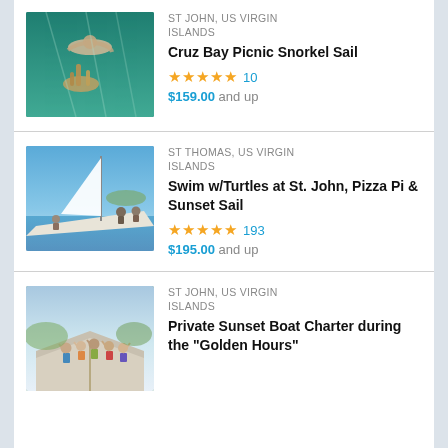[Figure (photo): Underwater snorkeling photo showing a person swimming near coral reef in blue-green water]
ST JOHN, US VIRGIN ISLANDS
Cruz Bay Picnic Snorkel Sail
★★★★★ 10
$159.00 and up
[Figure (photo): People sitting on deck of a sailboat on bright blue water]
ST THOMAS, US VIRGIN ISLANDS
Swim w/Turtles at St. John, Pizza Pi & Sunset Sail
★★★★★ 193
$195.00 and up
[Figure (photo): Group of people posing on front of boat, celebrating]
ST JOHN, US VIRGIN ISLANDS
Private Sunset Boat Charter during the "Golden Hours"